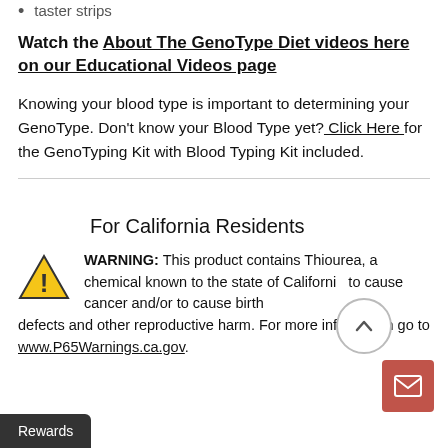taster strips
Watch the About The GenoType Diet videos here on our Educational Videos page
Knowing your blood type is important to determining your GenoType. Don't know your Blood Type yet? Click Here for the GenoTyping Kit with Blood Typing Kit included.
For California Residents
WARNING: This product contains Thiourea, a chemical known to the state of California to cause cancer and/or to cause birth defects and other reproductive harm. For more information go to www.P65Warnings.ca.gov.